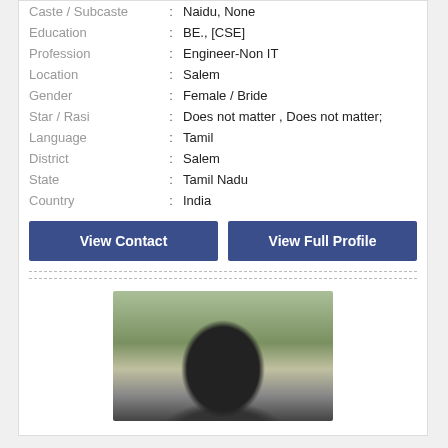| Field | Colon | Value |
| --- | --- | --- |
| Caste / Subcaste | : | Naidu, None |
| Education | : | BE., [CSE] |
| Profession | : | Engineer-Non IT |
| Location | : | Salem |
| Gender | : | Female / Bride |
| Star / Rasi | : | Does not matter , Does not matter; |
| Language | : | Tamil |
| District | : | Salem |
| State | : | Tamil Nadu |
| Country | : | India |
View Contact
View Full Profile
[Figure (photo): Profile photo of a person with dark hair, with green foliage background]